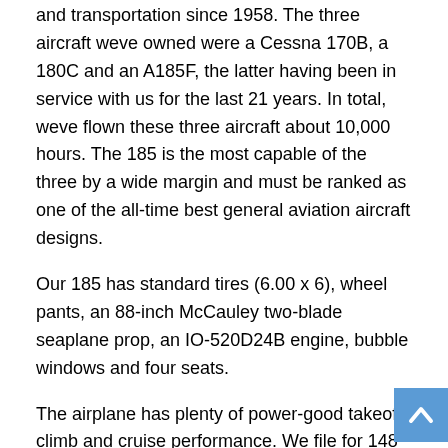and transportation since 1958. The three aircraft weve owned were a Cessna 170B, a 180C and an A185F, the latter having been in service with us for the last 21 years. In total, weve flown these three aircraft about 10,000 hours. The 185 is the most capable of the three by a wide margin and must be ranked as one of the all-time best general aviation aircraft designs.
Our 185 has standard tires (6.00 x 6), wheel pants, an 88-inch McCauley two-blade seaplane prop, an IO-520D24B engine, bubble windows and four seats.
The airplane has plenty of power-good takeoff, climb and cruise performance. We file for 148 knots TAS, always use 65% power for cruise and try to operate at 8,000 to 10,000 feet on long trips. We use AeroShell 15W50 oil with 50-hour oil change intervals, and have had no trouble running the engines to their 1,700-hour TBO...